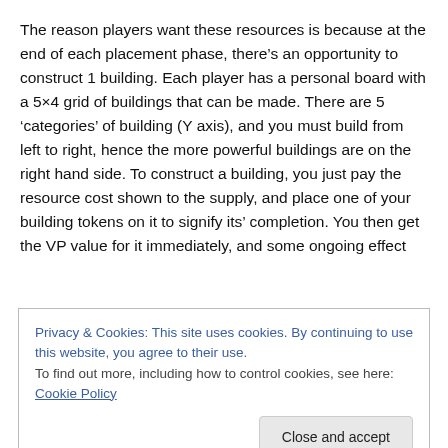The reason players want these resources is because at the end of each placement phase, there’s an opportunity to construct 1 building. Each player has a personal board with a 5×4 grid of buildings that can be made. There are 5 ‘categories’ of building (Y axis), and you must build from left to right, hence the more powerful buildings are on the right hand side. To construct a building, you just pay the resource cost shown to the supply, and place one of your building tokens on it to signify its’ completion. You then get the VP value for it immediately, and some ongoing effect
Privacy & Cookies: This site uses cookies. By continuing to use this website, you agree to their use.
To find out more, including how to control cookies, see here: Cookie Policy
just come with a number for success/failure/draw, a